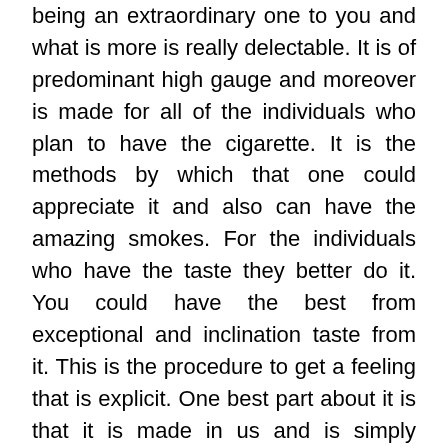being an extraordinary one to you and what is more is really delectable. It is of predominant high gauge and moreover is made for all of the individuals who plan to have the cigarette. It is the methods by which that one could appreciate it and also can have the amazing smokes. For the individuals who have the taste they better do it. You could have the best from exceptional and inclination taste from it. This is the procedure to get a feeling that is explicit. One best part about it is that it is made in us and is simply residential therefore; you have the ability to make the most of its taste. It could give you a clearly better...